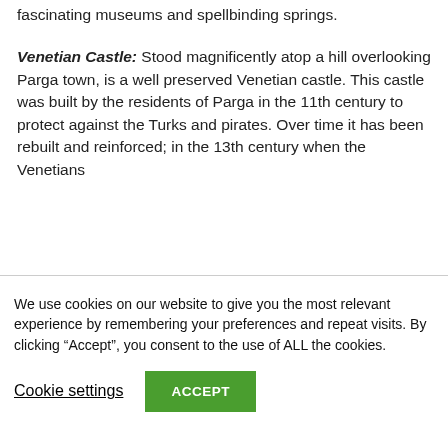fascinating museums and spellbinding springs.
Venetian Castle: Stood magnificently atop a hill overlooking Parga town, is a well preserved Venetian castle. This castle was built by the residents of Parga in the 11th century to protect against the Turks and pirates. Over time it has been rebuilt and reinforced; in the 13th century when the Venetians
We use cookies on our website to give you the most relevant experience by remembering your preferences and repeat visits. By clicking “Accept”, you consent to the use of ALL the cookies.
Cookie settings
ACCEPT